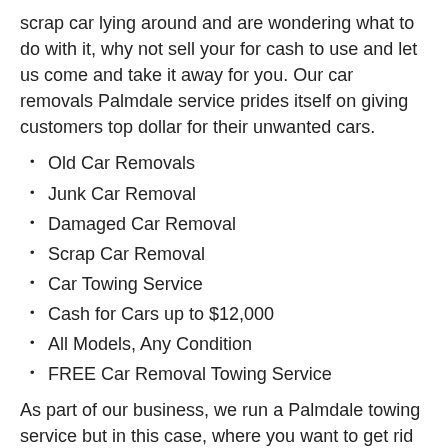scrap car lying around and are wondering what to do with it, why not sell your for cash to use and let us come and take it away for you. Our car removals Palmdale service prides itself on giving customers top dollar for their unwanted cars.
Old Car Removals
Junk Car Removal
Damaged Car Removal
Scrap Car Removal
Car Towing Service
Cash for Cars up to $12,000
All Models, Any Condition
FREE Car Removal Towing Service
As part of our business, we run a Palmdale towing service but in this case, where you want to get rid of an old car in Palmdale we will come and pick it up with our tow truck and remove it from your property FREE of charge. In most cases, we'll also pay you cash for your car as it will still be worth something.